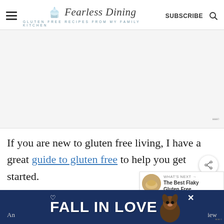Fearless Dining — GLUTEN FREE RECIPES FROM MY FAMILY KITCHEN
[Figure (other): Large advertisement placeholder area with watermark icon in bottom right]
If you are new to gluten free living, I have a great guide to gluten free to help you get started.
[Figure (other): Bottom banner advertisement: FALL IN LOVE with dog photo, close button, and partial text An... ...iew]